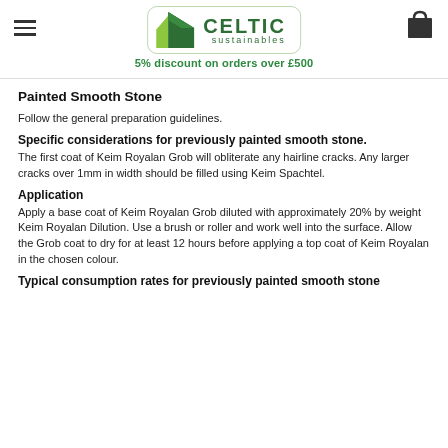Celtic Sustainables — 5% discount on orders over £500
Painted Smooth Stone
Follow the general preparation guidelines.
Specific considerations for previously painted smooth stone.
The first coat of Keim Royalan Grob will obliterate any hairline cracks. Any larger cracks over 1mm in width should be filled using Keim Spachtel.
Application
Apply a base coat of Keim Royalan Grob diluted with approximately 20% by weight Keim Royalan Dilution. Use a brush or roller and work well into the surface. Allow the Grob coat to dry for at least 12 hours before applying a top coat of Keim Royalan in the chosen colour.
Typical consumption rates for previously painted smooth stone